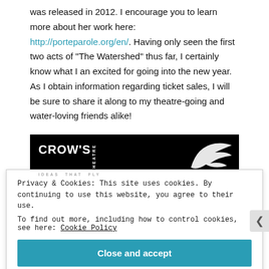was released in 2012. I encourage you to learn more about her work here: http://porteparole.org/en/. Having only seen the first two acts of "The Watershed" thus far, I certainly know what I an excited for going into the new year. As I obtain information regarding ticket sales, I will be sure to share it along to my theatre-going and water-loving friends alike!
[Figure (logo): Crow's Theatre logo - white text on black background with teal bar at bottom and white bird silhouette]
Privacy & Cookies: This site uses cookies. By continuing to use this website, you agree to their use.
To find out more, including how to control cookies, see here: Cookie Policy
Close and accept